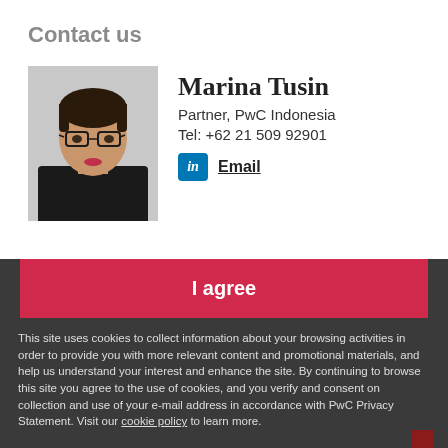Contact us
[Figure (photo): Professional headshot of Marina Tusin, a woman with short dark hair and glasses, wearing a dark outfit]
Marina Tusin
Partner, PwC Indonesia
Tel: +62 21 509 92901
[Figure (logo): LinkedIn icon badge (blue square with 'in')]
Email
I agree
This site uses cookies to collect information about your browsing activities in order to provide you with more relevant content and promotional materials, and help us understand your interest and enhance the site. By continuing to browse this site you agree to the use of cookies, and you verify and consent on collection and use of your e-mail address in accordance with PwC Privacy Statement. Visit our cookie policy to learn more.